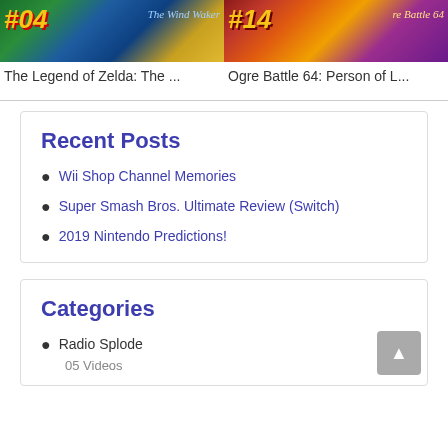[Figure (photo): The Legend of Zelda: The Wind Waker game card with #04 badge]
[Figure (photo): Ogre Battle 64: Person of L... game card with #14 badge]
The Legend of Zelda: The ...
Ogre Battle 64: Person of L...
Recent Posts
Wii Shop Channel Memories
Super Smash Bros. Ultimate Review (Switch)
2019 Nintendo Predictions!
Categories
Radio Splode
05 Videos